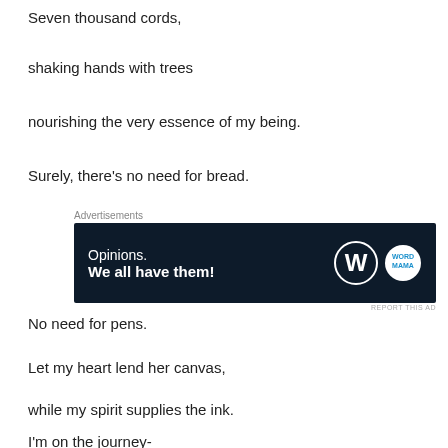Seven thousand cords,
shaking hands with trees
nourishing the very essence of my being.
Surely, there’s no need for bread.
[Figure (other): Advertisement banner: dark navy background with text 'Opinions. We all have them!' and WordPress and Word Mama logos]
No need for pens.
Let my heart lend her canvas,
while my spirit supplies the ink.
I’m on the journey-